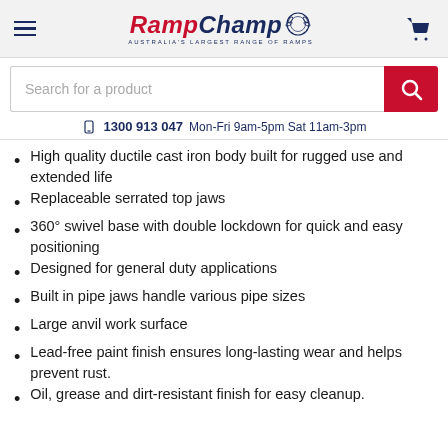[Figure (logo): RampChamp logo with laurel wreath, tagline 'Australia's Largest Range of Ramps']
[Figure (screenshot): Search bar with placeholder 'Search for a product' and red search button]
1300 913 047 Mon-Fri 9am-5pm Sat 11am-3pm
High quality ductile cast iron body built for rugged use and extended life
Replaceable serrated top jaws
360° swivel base with double lockdown for quick and easy positioning
Designed for general duty applications
Built in pipe jaws handle various pipe sizes
Large anvil work surface
Lead-free paint finish ensures long-lasting wear and helps prevent rust.
Oil, grease and dirt-resistant finish for easy cleanup.